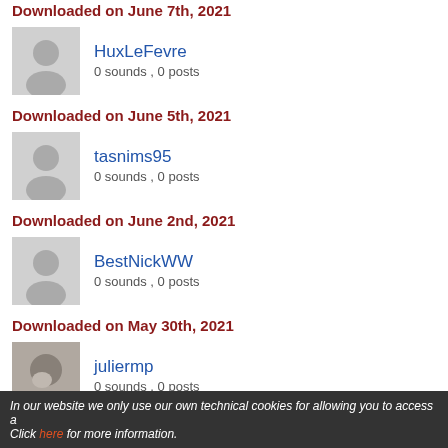Downloaded on June 7th, 2021
HuxLeFevre
0 sounds , 0 posts
Downloaded on June 5th, 2021
tasnims95
0 sounds , 0 posts
Downloaded on June 2nd, 2021
BestNickWW
0 sounds , 0 posts
Downloaded on May 30th, 2021
juliermp
0 sounds , 0 posts
Downloaded on May 23rd, 2021
Etherys
0 sounds , 0 posts
In our website we only use our own technical cookies for allowing you to access a Click here for more information.